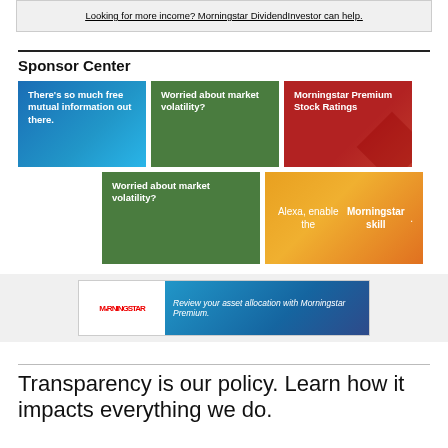Looking for more income? Morningstar DividendInvestor can help.
Sponsor Center
[Figure (infographic): Three sponsor ad banners in row 1: blue banner 'There's so much free mutual information out there.', green banner 'Worried about market volatility?', red banner 'Morningstar Premium Stock Ratings']
[Figure (infographic): Two sponsor ad banners in row 2: green banner 'Worried about market volatility?', orange banner 'Alexa, enable the Morningstar skill.']
[Figure (infographic): Morningstar banner ad: Review your asset allocation with Morningstar Premium.]
Transparency is our policy. Learn how it impacts everything we do.